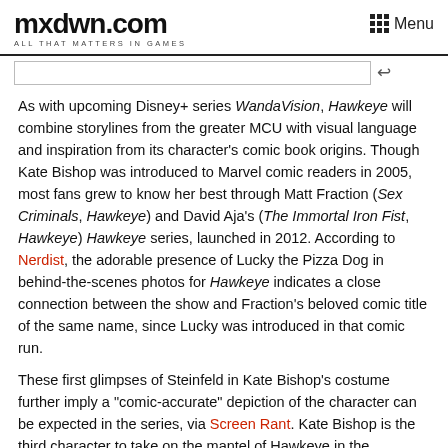mxdwn.com — ALL THAT MATTERS IN GAMES — Menu
As with upcoming Disney+ series WandaVision, Hawkeye will combine storylines from the greater MCU with visual language and inspiration from its character's comic book origins. Though Kate Bishop was introduced to Marvel comic readers in 2005, most fans grew to know her best through Matt Fraction (Sex Criminals, Hawkeye) and David Aja's (The Immortal Iron Fist, Hawkeye) Hawkeye series, launched in 2012. According to Nerdist, the adorable presence of Lucky the Pizza Dog in behind-the-scenes photos for Hawkeye indicates a close connection between the show and Fraction's beloved comic title of the same name, since Lucky was introduced in that comic run.
These first glimpses of Steinfeld in Kate Bishop's costume further imply a "comic-accurate" depiction of the character can be expected in the series, via Screen Rant. Kate Bishop is the third character to take on the mantel of Hawkeye in the